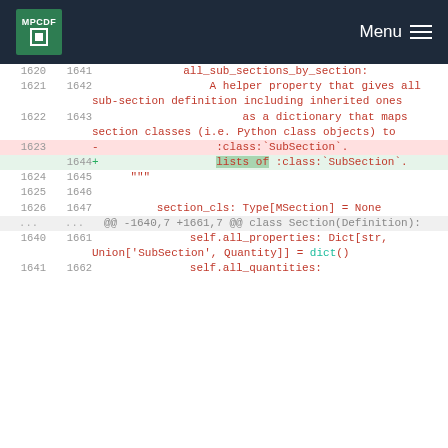MPCDF Menu
[Figure (screenshot): Code diff view showing changes to Python source code related to all_sub_sections_by_section property and SubSection class references]
1620 1641    all_sub_sections_by_section:
1621 1642         A helper property that gives all sub-section definition including inherited ones
1622 1643              as a dictionary that maps section classes (i.e. Python class objects) to
1623      -                :class:`SubSection`.
     1644 +                lists of :class:`SubSection`.
1624 1645     """
1625 1646
1626 1647         section_cls: Type[MSection] = None
...  ...  @@ -1640,7 +1661,7 @@ class Section(Definition):
1640 1661              self.all_properties: Dict[str, Union['SubSection', Quantity]] = dict()
1641 1662              self.all_quantities: